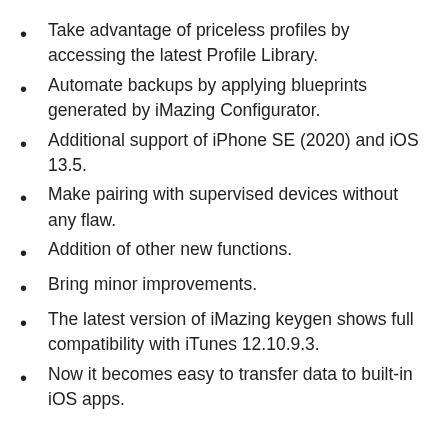Take advantage of priceless profiles by accessing the latest Profile Library.
Automate backups by applying blueprints generated by iMazing Configurator.
Additional support of iPhone SE (2020) and iOS 13.5.
Make pairing with supervised devices without any flaw.
Addition of other new functions.
Bring minor improvements.
The latest version of iMazing keygen shows full compatibility with iTunes 12.10.9.3.
Now it becomes easy to transfer data to built-in iOS apps.